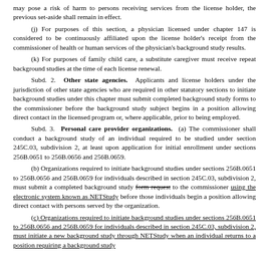may pose a risk of harm to persons receiving services from the license holder, the previous set-aside shall remain in effect.
(j) For purposes of this section, a physician licensed under chapter 147 is considered to be continuously affiliated upon the license holder's receipt from the commissioner of health or human services of the physician's background study results.
(k) For purposes of family child care, a substitute caregiver must receive repeat background studies at the time of each license renewal.
Subd. 2. Other state agencies. Applicants and license holders under the jurisdiction of other state agencies who are required in other statutory sections to initiate background studies under this chapter must submit completed background study forms to the commissioner before the background study subject begins in a position allowing direct contact in the licensed program or, where applicable, prior to being employed.
Subd. 3. Personal care provider organizations. (a) The commissioner shall conduct a background study of an individual required to be studied under section 245C.03, subdivision 2, at least upon application for initial enrollment under sections 256B.0651 to 256B.0656 and 256B.0659.
(b) Organizations required to initiate background studies under sections 256B.0651 to 256B.0656 and 256B.0659 for individuals described in section 245C.03, subdivision 2, must submit a completed background study form request to the commissioner using the electronic system known as NETStudy before those individuals begin a position allowing direct contact with persons served by the organization.
(c) Organizations required to initiate background studies under sections 256B.0651 to 256B.0656 and 256B.0659 for individuals described in section 245C.03, subdivision 2, must initiate a new background study through NETStudy when an individual returns to a position requiring a background study